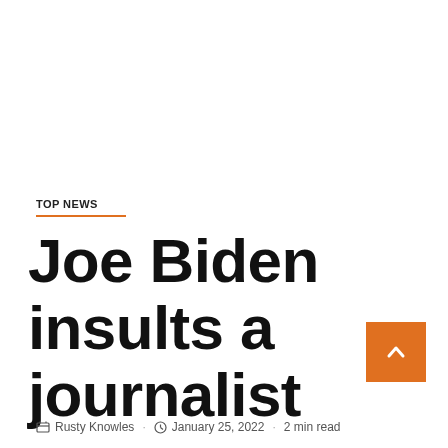TOP NEWS
Joe Biden insults a journalist
Rusty Knowles · January 25, 2022 · 2 min read